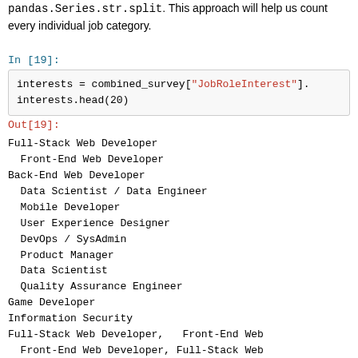pandas.Series.str.split. This approach will help us count every individual job category.
In [19]:
interests = combined_survey["JobRoleInterest"].
interests.head(20)
Out[19]:
Full-Stack Web Developer
  Front-End Web Developer
Back-End Web Developer
  Data Scientist / Data Engineer
  Mobile Developer
  User Experience Designer
  DevOps / SysAdmin
  Product Manager
  Data Scientist
  Quality Assurance Engineer
Game Developer
Information Security
Full-Stack Web Developer,   Front-End Web Developer,
  Front-End Web Developer, Full-Stack Web Developer,
Data Engineer
  User Experience Designer,   Front-End Web Developer,
  Front-End Web Developer, Back-End Web Developer,